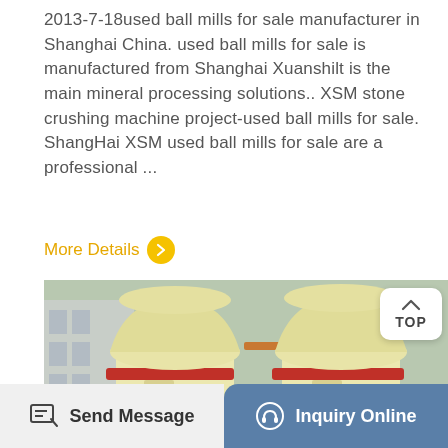2013-7-18used ball mills for sale manufacturer in Shanghai China. used ball mills for sale is manufactured from Shanghai Xuanshilt is the main mineral processing solutions.. XSM stone crushing machine project-used ball mills for sale. ShangHai XSM used ball mills for sale are a professional ...
More Details >
[Figure (photo): Two large yellow industrial ball mills / grinding mills with red stripe bands near the top, photographed outdoors in a factory yard. A white TOP button overlay appears in the upper right corner of the image.]
Send Message
Inquiry Online